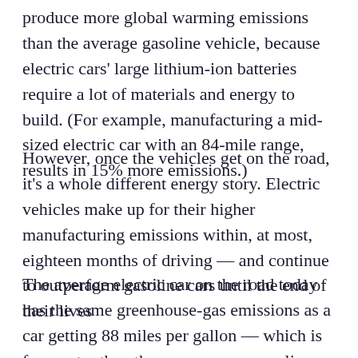produce more global warming emissions than the average gasoline vehicle, because electric cars' large lithium-ion batteries require a lot of materials and energy to build. (For example, manufacturing a mid-sized electric car with an 84-mile range, results in 15% more emissions.)
However, once the vehicles get on the road, it's a whole different energy story. Electric vehicles make up for their higher manufacturing emissions within, at most, eighteen months of driving — and continue to outperform gasoline cars until the end of their lives
The average electric car on the road today has the same greenhouse-gas emissions as a car getting 88 miles per gallon — which is far greater than the average new gasoline-powered car (31 mpg) or truck (21 mpg),